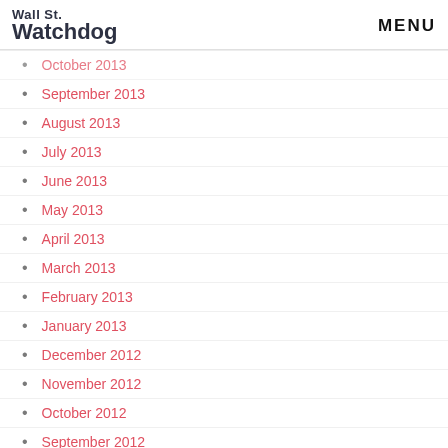Wall St. Watchdog | MENU
October 2013
September 2013
August 2013
July 2013
June 2013
May 2013
April 2013
March 2013
February 2013
January 2013
December 2012
November 2012
October 2012
September 2012